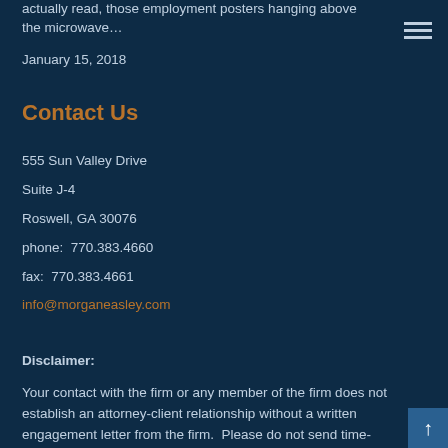actually read, those employment posters hanging above the microwave…
January 15, 2018
Contact Us
555 Sun Valley Drive
Suite J-4
Roswell, GA 30076
phone:  770.383.4660
fax:  770.383.4661
info@morganeasley.com
Disclaimer:
Your contact with the firm or any member of the firm does not establish an attorney-client relationship without a written engagement letter from the firm.  Please do not send time-